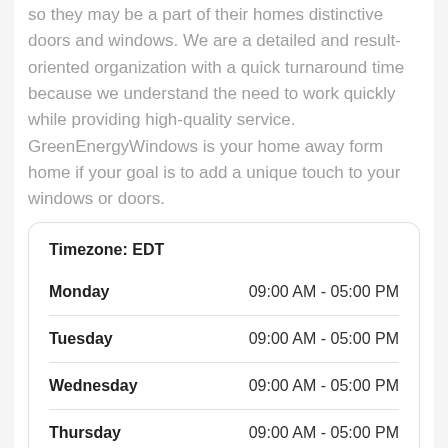so they may be a part of their homes distinctive doors and windows. We are a detailed and result-oriented organization with a quick turnaround time because we understand the need to work quickly while providing high-quality service. GreenEnergyWindows is your home away form home if your goal is to add a unique touch to your windows or doors.
| Day | Hours |
| --- | --- |
| Monday | 09:00 AM - 05:00 PM |
| Tuesday | 09:00 AM - 05:00 PM |
| Wednesday | 09:00 AM - 05:00 PM |
| Thursday | 09:00 AM - 05:00 PM |